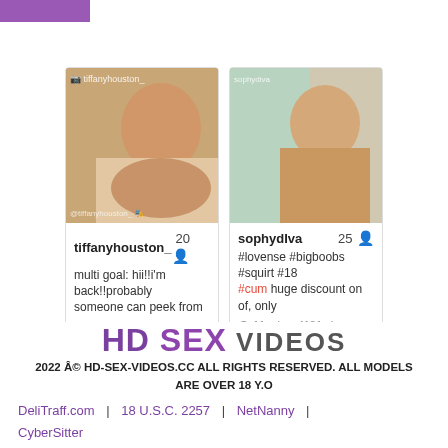[Figure (screenshot): Screenshot of adult webcam site showing two model cards: tiffanyhouston_ (age 20) with description 'multi goal: hii!!i'm back!!probably someone can peek from' and '1.0 hrs, 4513 viewers'; sophydiva (age 25) with description '#lovense #bigboobs #squirt #18 #cum huge discount on of, only' and '11 mins, 4181 viewers'. Below are two partial thumbnail cards.]
HD SEX VIDEOS
2022 Â© HD-SEX-VIDEOS.CC ALL RIGHTS RESERVED. ALL MODELS ARE OVER 18 Y.O
DeliTraff.com | 18 U.S.C. 2257 | NetNanny | CyberSitter